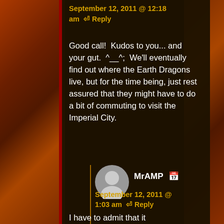September 12, 2011 @ 12:18 am  ↩ Reply
Good call!  Kudos to you... and your gut.  ^__^;  We'll eventually find out where the Earth Dragons live, but for the time being, just rest assured that they might have to do a bit of commuting to visit the Imperial City.
MrAMP
September 12, 2011 @ 1:03 am  ↩ Reply
I have to admit that it